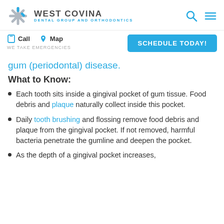WEST COVINA DENTAL GROUP AND ORTHODONTICS
Call  Map  SCHEDULE TODAY!  WE TAKE EMERGENCIES
gum (periodontal) disease.
What to Know:
Each tooth sits inside a gingival pocket of gum tissue. Food debris and plaque naturally collect inside this pocket.
Daily tooth brushing and flossing remove food debris and plaque from the gingival pocket. If not removed, harmful bacteria penetrate the gumline and deepen the pocket.
As the depth of a gingival pocket increases,